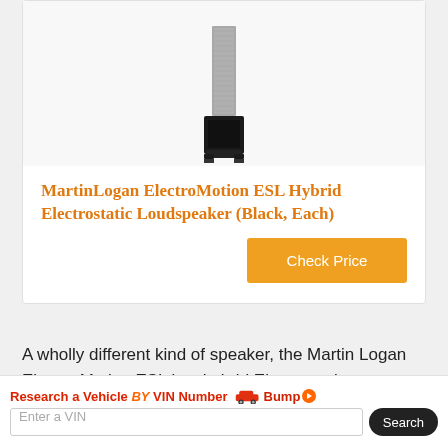[Figure (photo): MartinLogan ElectroMotion ESL speaker tower product photo on white background]
MartinLogan ElectroMotion ESL Hybrid Electrostatic Loudspeaker (Black, Each)
Check Price
A wholly different kind of speaker, the Martin Logan Electro Motion ESL is a hybrid Electrostatic loudspeaker, which means it has a normal "dynamic" subwoofer built-in for deep bass, but all the higher notes are handled by an incredibly thin
Research a Vehicle BY VIN Number  Bump  Enter a VIN  Search